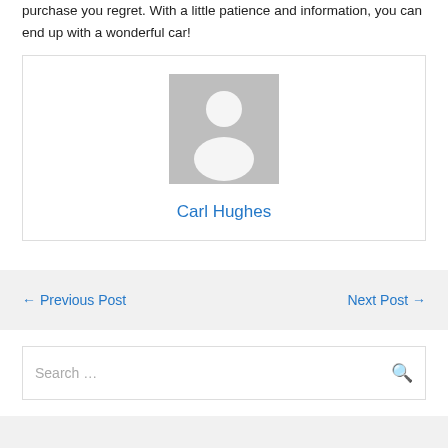purchase you regret. With a little patience and information, you can end up with a wonderful car!
[Figure (illustration): Author avatar placeholder: grey square with white silhouette of a person]
Carl Hughes
← Previous Post
Next Post →
Search …